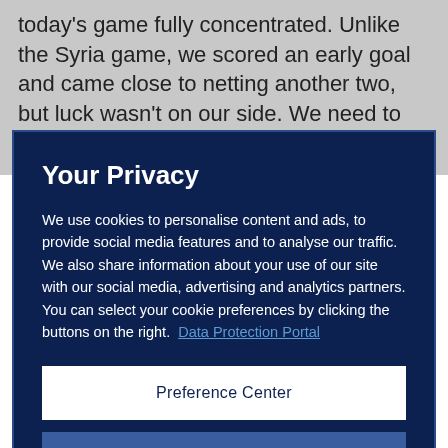today's game fully concentrated. Unlike the Syria game, we scored an early goal and came close to netting another two, but luck wasn't on our side. We need to turn the page quickly, however, and not over-celebrate
Your Privacy
We use cookies to personalise content and ads, to provide social media features and to analyse our traffic. We also share information about your use of our site with our social media, advertising and analytics partners. You can select your cookie preferences by clicking the buttons on the right.  Data Protection Portal
Preference Center
Reject All
I'm OK with that